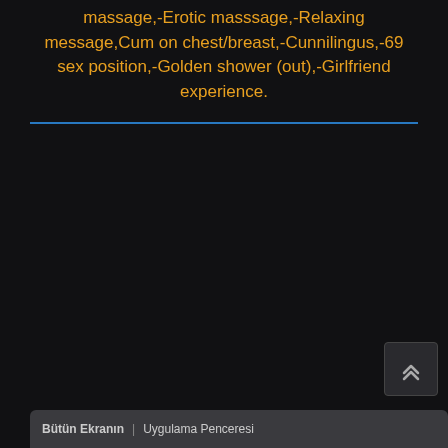massage,-Erotic masssage,-Relaxing message,Cum on chest/breast,-Cunnilingus,-69 sex position,-Golden shower (out),-Girlfriend experience.
[Figure (screenshot): Dark background area with a horizontal blue divider line and mostly empty dark space below]
Bütün Ekranın   Uygulama Penceresi